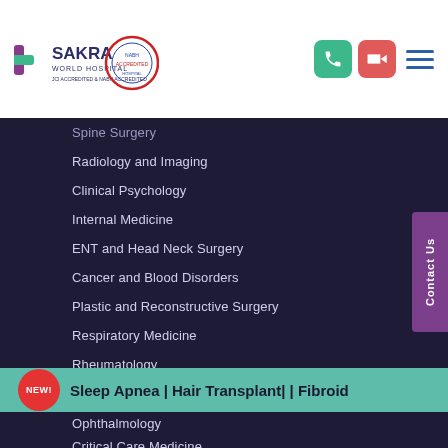[Figure (logo): Sakra World Hospital logo with accreditation seal]
Spine Surgery
Radiology and Imaging
Clinical Psychology
Internal Medicine
ENT and Head Neck Surgery
Cancer and Blood Disorders
Plastic and Reconstructive Surgery
Respiratory Medicine
Rheumatology
Endocrinology Diabetes Thyroid and Osteoporosis
Dentistry
Dermatology
Sleep Apnea | Hair Transplant| | Fibroid
Ophthalmology
Critical Care Medicine
Interventional Radiology